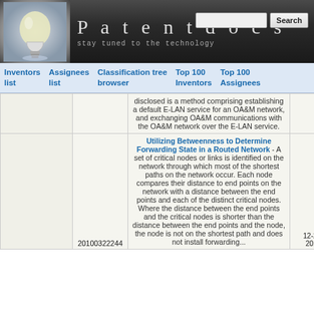[Figure (logo): Patentdocs website header with light bulb logo, site title 'Patentdocs', tagline 'stay tuned to the technology', and a search box with Search button]
Inventors list | Assignees list | Classification tree browser | Top 100 Inventors | Top 100 Assignees
|  | Patent/App No. | Description | Date |
| --- | --- | --- | --- |
|  |  | disclosed is a method comprising establishing a default E-LAN service for an OA&M network, and exchanging OA&M communications with the OA&M network over the E-LAN service. |  |
|  | 20100322244 | Utilizing Betweenness to Determine Forwarding State in a Routed Network - A set of critical nodes or links is identified on the network through which most of the shortest paths on the network occur. Each node compares their distance to end points on the network with a distance between the end points and each of the distinct critical nodes. Where the distance between the end points and the critical nodes is shorter than the distance between the end points and the node, the node is not on the shortest path and does not install forwarding... | 12-23-2010 |